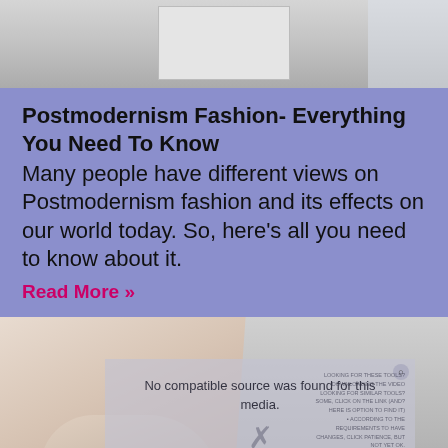[Figure (photo): Top portion of a photo showing what appears to be a white cabinet or furniture piece against a light background]
Postmodernism Fashion- Everything You Need To Know
Many people have different views on Postmodernism fashion and its effects on our world today. So, here’s all you need to know about it.
Read More »
[Figure (photo): Close-up photo of a hand touching sheer fabric, with a video player overlay showing 'No compatible source was found for this media.' message and an X button]